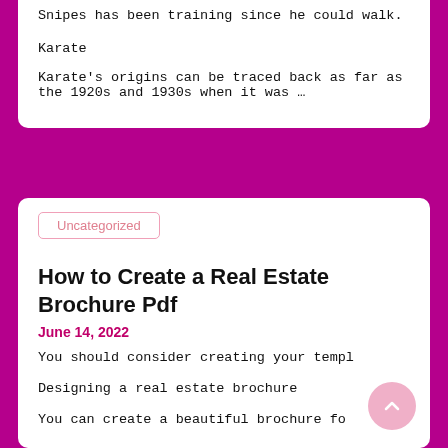Snipes has been training since he could walk.
Karate
Karate's origins can be traced back as far as the 1920s and 1930s when it was …
Uncategorized
How to Create a Real Estate Brochure Pdf
June 14, 2022
You should consider creating your templ
Designing a real estate brochure
You can create a beautiful brochure fo